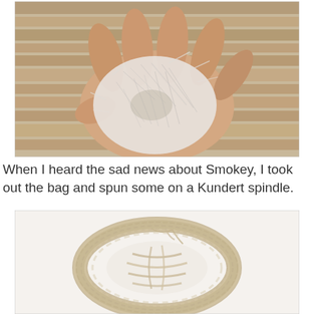[Figure (photo): A hand holding a fluffy clump of grey-white animal fiber (fur/wool) against a wooden background.]
When I heard the sad news about Smokey, I took out the bag and spun some on a Kundert spindle.
[Figure (photo): A skein of hand-spun tan/beige yarn coiled on a white surface.]